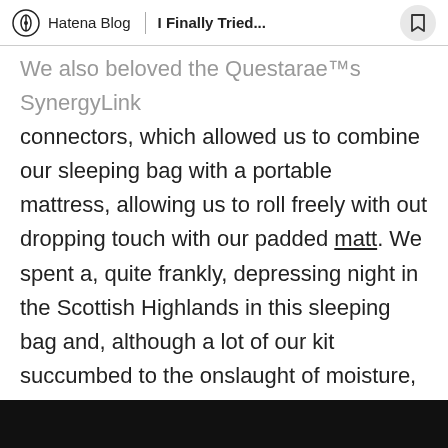Hatena Blog | I Finally Tried...
We also beloved the Questarae™s SynergyLink connectors, which allowed us to combine our sleeping bag with a portable mattress, allowing us to roll freely with out dropping touch with our padded matt. We spent a, quite frankly, depressing night in the Scottish Highlands in this sleeping bag and, although a lot of our kit succumbed to the onslaught of moisture, the Questarâ€™s hydrophobic 650-fill Nikwax Hydrophobic down saved the dreich weather at bay, sustaining its pure form and preserving this camper dry. Despite its pin-weight standing, the Fusion -2 carried out admirably in the heat department, due to its ingenious combination of polyester and down filling.